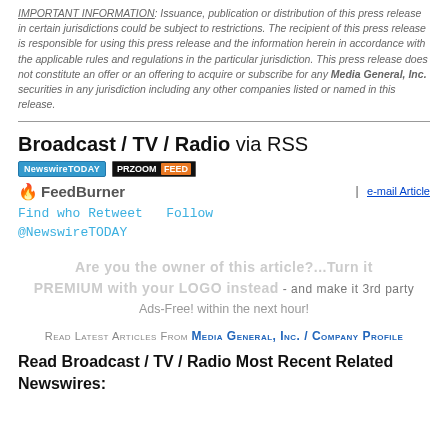IMPORTANT INFORMATION: Issuance, publication or distribution of this press release in certain jurisdictions could be subject to restrictions. The recipient of this press release is responsible for using this press release and the information herein in accordance with the applicable rules and regulations in the particular jurisdiction. This press release does not constitute an offer or an offering to acquire or subscribe for any Media General, Inc. securities in any jurisdiction including any other companies listed or named in this release.
Broadcast / TV / Radio via RSS
[Figure (logo): NewswireTODAY logo badge (blue background)]
[Figure (logo): PRZOOM FEED logo badge (black and orange background)]
[Figure (logo): FeedBurner logo with flame icon]
e-mail Article
Find who Retweet  Follow @NewswireTODAY
Are you the owner of this article?...Turn it PREMIUM with your LOGO instead - and make it 3rd party Ads-Free! within the next hour!
Read Latest Articles From Media General, Inc. / Company Profile
Read Broadcast / TV / Radio Most Recent Related Newswires: